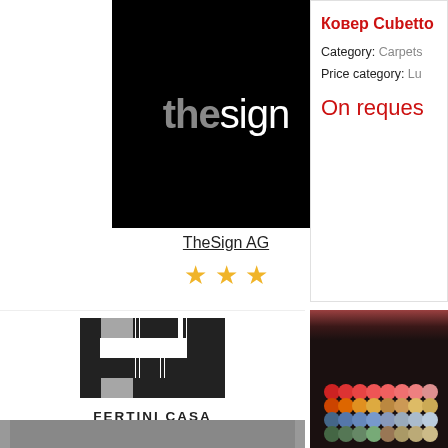[Figure (logo): TheSign AG logo — black background with 'thesign' text in grey/white mixed weight sans-serif]
TheSign AG
★ ★ ★
Ковер Cubetto
Category: Carpets
Price category: Lu
On reques
[Figure (logo): Fertini Casa logo — black geometric maze-like square logo with white cutouts, 'FERTINI CASA' text below]
Fertini Casa
★ ★ ★
[Figure (photo): Photo of wool yarn sample cards in various colors arranged in a black tray, photographed from above on dark background]